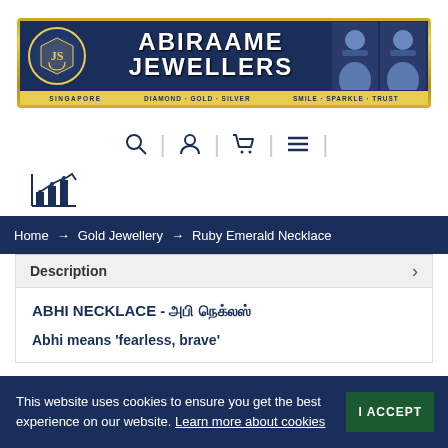[Figure (logo): Abiraame Jewellers banner logo — dark blue background with gold border, logo emblem on left, two men in suits on right, text ABIRAAME JEWELLERS in white, tagline SINGAPORE | DIAMOND · GOLD · SILVER | SMILE · SPARKLE · TRUST in gold on yellow bar]
[Figure (infographic): Navigation icon bar with search, account, cart, hamburger menu icons separated by vertical dividers]
[Figure (infographic): Price chart/analytics icon]
Home → Gold Jewellery → Ruby Emerald Necklace
Description
ABHI NECKLACE - அபி நெக்லஸ்
Abhi means 'fearless, brave'
This website uses cookies to ensure you get the best experience on our website. Learn more about cookies